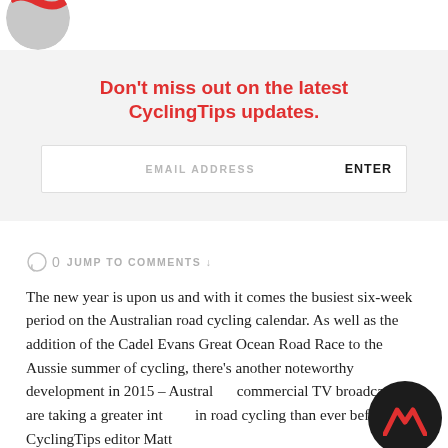[Figure (photo): Partial avatar/profile photo at the top left corner, partially cropped, with a red arc visible]
Don't miss out on the latest CyclingTips updates.
EMAIL ADDRESS   ENTER
0   JUMP TO COMMENTS ↓
The new year is upon us and with it comes the busiest six-week period on the Australian road cycling calendar. As well as the addition of the Cadel Evans Great Ocean Road Race to the Aussie summer of cycling, there's another noteworthy development in 2015 – Australia's commercial TV broadcasters are taking a greater interest in road cycling than ever before. CyclingTips editor Matt
[Figure (logo): CyclingTips logo badge — dark circular badge with red chevron/mountain icon]